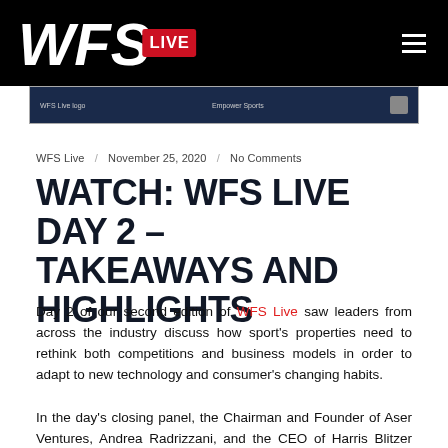[Figure (logo): WFS Live logo — white stylized WFS letters with red LIVE badge on black background]
[Figure (screenshot): Partial screenshot of a webpage with dark navy background and small text, partially cropped]
WFS Live / November 25, 2020 / No Comments
WATCH: WFS LIVE DAY 2 – TAKEAWAYS AND HIGHLIGHTS
Day 2 of our second edition of WFS Live saw leaders from across the industry discuss how sport's properties need to rethink both competitions and business models in order to adapt to new technology and consumer's changing habits.
In the day's closing panel, the Chairman and Founder of Aser Ventures, Andrea Radrizzani, and the CEO of Harris Blitzer Sports & Entertainment, Scott O'Neil...